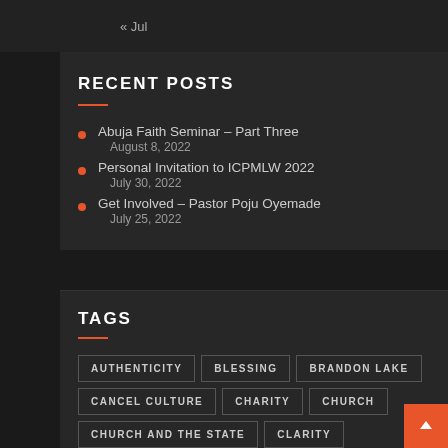« Jul
RECENT POSTS
Abuja Faith Seminar – Part Three
August 8, 2022
Personal Invitation to ICPMLW 2022
July 30, 2022
Get Involved – Pastor Poju Oyemade
July 25, 2022
TAGS
AUTHENTICITY
BLESSING
BRANDON LAKE
CANCEL CULTURE
CHARITY
CHURCH
CHURCH AND THE STATE
CLARITY